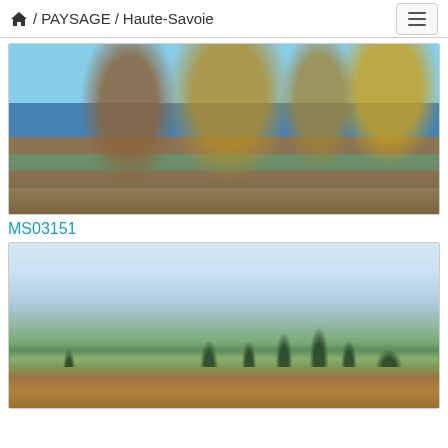🏠 / PAYSAGE / Haute-Savoie
[Figure (photo): Autumn trees with golden-yellow leaves along a lakeside stone wall, with a blue lake and mountain in the background, Haute-Savoie]
MS03151
[Figure (photo): Wide open landscape with conifers and sparse trees on a green meadow, with reeds in the foreground and a pale cloudy sky, Haute-Savoie]